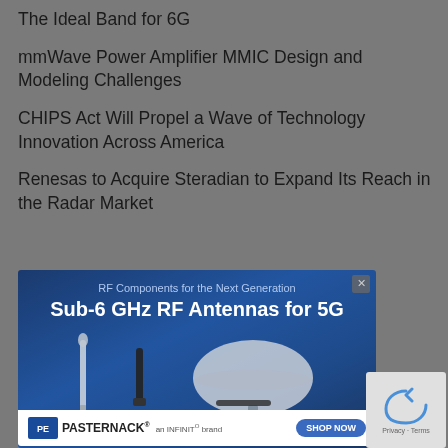The Ideal Band for 6G
mmWave Power Amplifier MMIC Design and Modeling Challenges
CHIPS Act Will Propel a Wave of Technology Innovation Across America
Renesas to Acquire Steradian to Expand Its Reach in the Radar Market
[Figure (illustration): Advertisement banner for Pasternack Sub-6 GHz RF Antennas for 5G, showing antenna product images, with text 'RF Components for the Next Generation', 'Sub-6 GHz RF Antennas for 5G', 'In-Stock and Shipped Same-Day!' and the Pasternack logo with a SHOP NOW button at the bottom.]